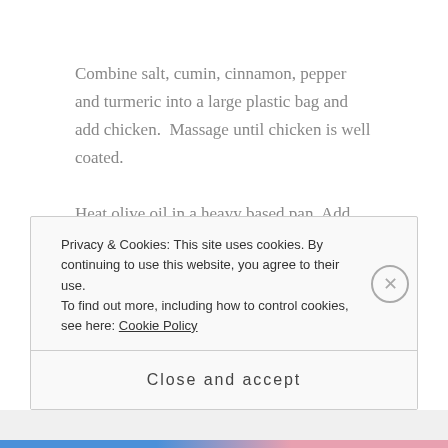Combine salt, cumin, cinnamon, pepper and turmeric into a large plastic bag and add chicken.  Massage until chicken is well coated.
Heat olive oil in a heavy based pan. Add chicken and brown on all sides.  Remove from the heat and set aside.  Add onions, ginger, garlic, and chilli and cook for 3 minutes.  Add tomato, saffron, cumin seeds and thyme and cook for a further 2 minutes.
Privacy & Cookies: This site uses cookies. By continuing to use this website, you agree to their use.
To find out more, including how to control cookies, see here: Cookie Policy
Close and accept